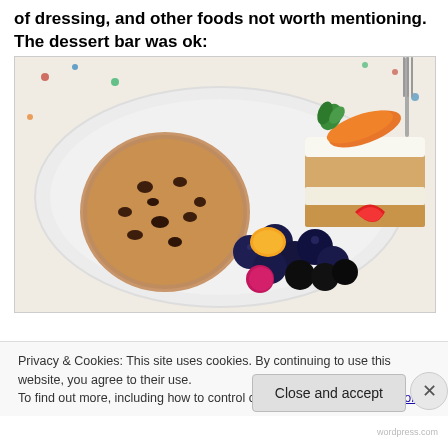of dressing, and other foods not worth mentioning.
The dessert bar was ok:
[Figure (photo): A white plate with a chocolate chip cookie, a slice of carrot cake with orange carrot decoration, mixed berries including blueberries, blackberries, raspberries, and an orange segment.]
Privacy & Cookies: This site uses cookies. By continuing to use this website, you agree to their use.
To find out more, including how to control cookies, see here: Cookie Policy
Close and accept